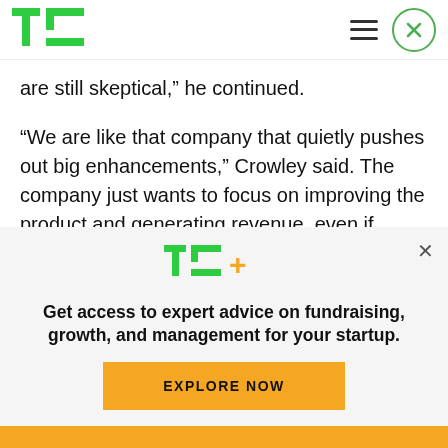TechCrunch
are still skeptical,” he continued.
“We are like that company that quietly pushes out big enhancements,” Crowley said. The company just wants to focus on improving the product and generating revenue, even if Foursquare receives negative thoughts from time to time.
[Figure (logo): TC+ TechCrunch Plus logo in green]
Get access to expert advice on fundraising, growth, and management for your startup.
EXPLORE NOW